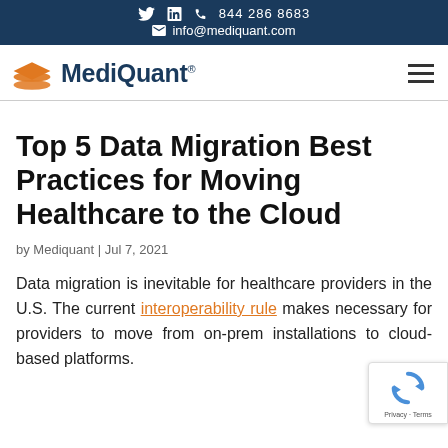844 286 8683  info@mediquant.com
[Figure (logo): MediQuant logo with orange layered icon and navy bold text 'MediQuant' with registered trademark symbol]
Top 5 Data Migration Best Practices for Moving Healthcare to the Cloud
by Mediquant | Jul 7, 2021
Data migration is inevitable for healthcare providers in the U.S. The current interoperability rule makes necessary for providers to move from on-prem installations to cloud-based platforms.